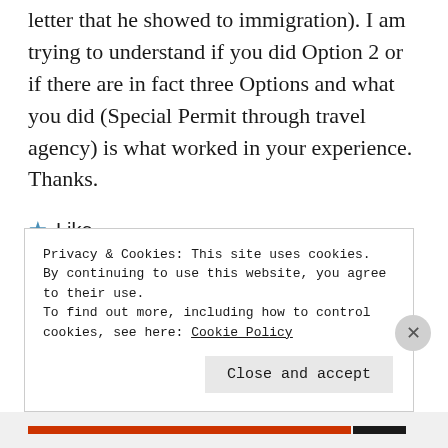letter that he showed to immigration). I am trying to understand if you did Option 2 or if there are in fact three Options and what you did (Special Permit through travel agency) is what worked in your experience. Thanks.
★ Like
Reply
Privacy & Cookies: This site uses cookies. By continuing to use this website, you agree to their use.
To find out more, including how to control cookies, see here: Cookie Policy
Close and accept